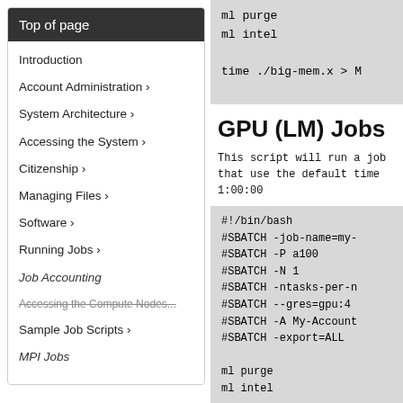Top of page
Introduction
Account Administration ›
System Architecture ›
Accessing the System ›
Citizenship ›
Managing Files ›
Software ›
Running Jobs ›
Job Accounting
Accessing the Compute Nodes...
Sample Job Scripts ›
MPI Jobs
ml purge
ml intel

time ./big-mem.x > M
GPU (LM) Jobs
This script will run a job that
use the default time 1:00:00
#!/bin/bash
#SBATCH -job-name=my-
#SBATCH -P a100
#SBATCH -N 1
#SBATCH -ntasks-per-n
#SBATCH --gres=gpu:4
#SBATCH -A My-Account
#SBATCH -export=ALL

ml purge
ml intel